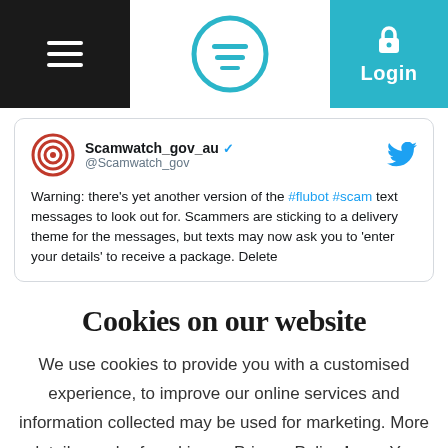[Figure (screenshot): Navigation bar with hamburger menu on black background left, circular logo in center, and teal Login button with lock icon on right]
[Figure (screenshot): Tweet card from Scamwatch_gov_au (@Scamwatch_gov) with verified badge and Twitter bird icon. Text: Warning: there's yet another version of the #flubot #scam text messages to look out for. Scammers are sticking to a delivery theme for the messages, but texts may now ask you to 'enter your details' to receive a package. Delete]
Cookies on our website
We use cookies to provide you with a customised experience, to improve our online services and information collected may be used for marketing. More details can be found in our Privacy Policy here. You can turn off your cookies collection and tracking in your browser settings.